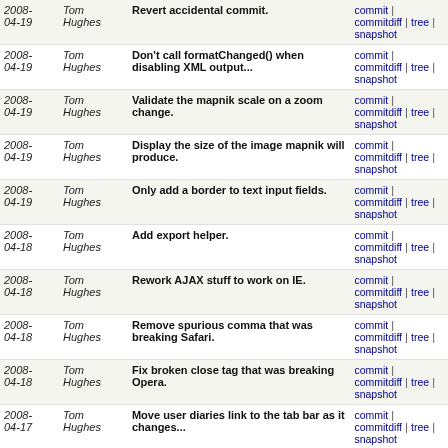| Date | Author | Message | Links |
| --- | --- | --- | --- |
| 2008-04-19 | Tom Hughes | Revert accidental commit. | commit | commitdiff | tree | snapshot |
| 2008-04-19 | Tom Hughes | Don't call formatChanged() when disabling XML output... | commit | commitdiff | tree | snapshot |
| 2008-04-19 | Tom Hughes | Validate the mapnik scale on a zoom change. | commit | commitdiff | tree | snapshot |
| 2008-04-19 | Tom Hughes | Display the size of the image mapnik will produce. | commit | commitdiff | tree | snapshot |
| 2008-04-19 | Tom Hughes | Only add a border to text input fields. | commit | commitdiff | tree | snapshot |
| 2008-04-18 | Tom Hughes | Add export helper. | commit | commitdiff | tree | snapshot |
| 2008-04-18 | Tom Hughes | Rework AJAX stuff to work on IE. | commit | commitdiff | tree | snapshot |
| 2008-04-18 | Tom Hughes | Remove spurious comma that was breaking Safari. | commit | commitdiff | tree | snapshot |
| 2008-04-18 | Tom Hughes | Fix broken close tag that was breaking Opera. | commit | commitdiff | tree | snapshot |
| 2008-04-17 | Tom Hughes | Move user diaries link to the tab bar as it changes... | commit | commitdiff | tree | snapshot |
| 2008-04-17 | Tom Hughes | Default export format based on selected base layer. | commit | commitdiff | tree | snapshot |
| 2008-04-17 | Tom Hughes | Fill in license details. | commit | commitdiff | tree | snapshot |
| 2008-04-17 | Tom Hughes | Remove unused method. | commit | commitdiff | tree | snapshot |